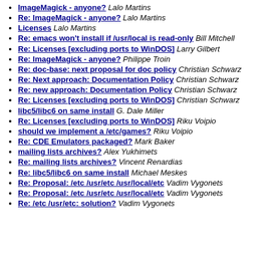ImageMagick - anyone? Lalo Martins
Re: ImageMagick - anyone? Lalo Martins
Licenses Lalo Martins
Re: emacs won't install if /usr/local is read-only Bill Mitchell
Re: Licenses [excluding ports to WinDOS] Larry Gilbert
Re: ImageMagick - anyone? Philippe Troin
Re: doc-base: next proposal for doc policy Christian Schwarz
Re: Next approach: Documentation Policy Christian Schwarz
Re: new approach: Documentation Policy Christian Schwarz
Re: Licenses [excluding ports to WinDOS] Christian Schwarz
libc5/libc6 on same install G. Dale Miller
Re: Licenses [excluding ports to WinDOS] Riku Voipio
should we implement a /etc/games? Riku Voipio
Re: CDE Emulators packaged? Mark Baker
mailing lists archives? Alex Yukhimets
Re: mailing lists archives? Vincent Renardias
Re: libc5/libc6 on same install Michael Meskes
Re: Proposal: /etc /usr/etc /usr/local/etc Vadim Vygonets
Re: Proposal: /etc /usr/etc /usr/local/etc Vadim Vygonets
Re: /etc /usr/etc: solution? Vadim Vygonets